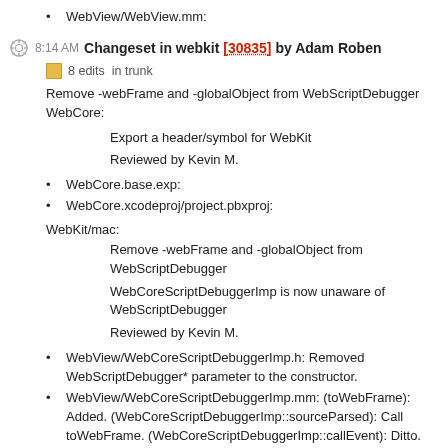WebView/WebView.mm:
8:14 AM Changeset in webkit [30835] by Adam Roben
8 edits  in trunk
Remove -webFrame and -globalObject from WebScriptDebugger WebCore:
Export a header/symbol for WebKit
Reviewed by Kevin M.
WebCore.base.exp:
WebCore.xcodeproj/project.pbxproj:
WebKit/mac:
Remove -webFrame and -globalObject from WebScriptDebugger
WebCoreScriptDebuggerImp is now unaware of WebScriptDebugger
Reviewed by Kevin M.
WebView/WebCoreScriptDebuggerImp.h: Removed WebScriptDebugger* parameter to the constructor.
WebView/WebCoreScriptDebuggerImp.mm: (toWebFrame): Added. (WebCoreScriptDebuggerImp::sourceParsed): Call toWebFrame. (WebCoreScriptDebuggerImp::callEvent): Ditto. and get the Frame's